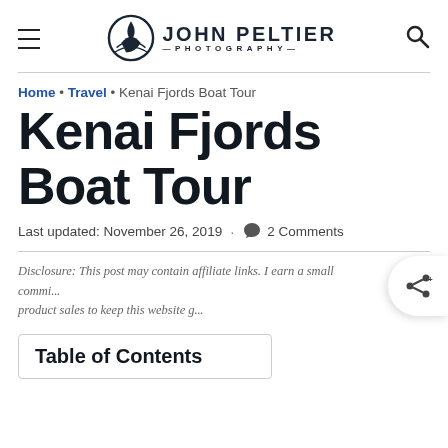John Peltier Photography
Home • Travel • Kenai Fjords Boat Tour
Kenai Fjords Boat Tour
Last updated: November 26, 2019 · 2 Comments
Disclosure: This post may contain affiliate links. I earn a small commi... product sales to keep this website g...
Table of Contents